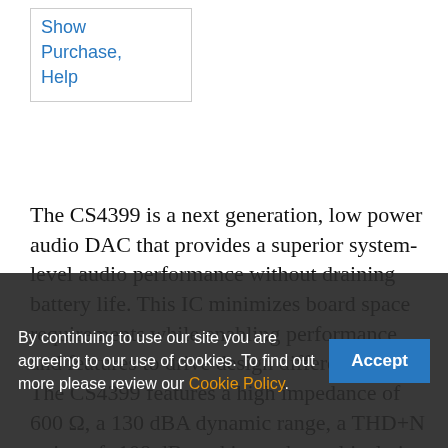Show
Purchase,
Help
The CS4399 is a next generation, low power audio DAC that provides a superior system-level audio performance without draining battery life. This IC minimizes board space requirements while enabling performance and features to drive design differentiation. The CS4399 features a high impedance of 600 Ω, a 130 dBA dynamic range, a THD+N rating of -108 dB, and inter channel isolation of -110 dB. To minimize pre-echos and ringing artifacts, the CS4399 is designed with programmable interpolation filters that support five selectable digital filter responses. Filtering options include low group delay with pseudo-